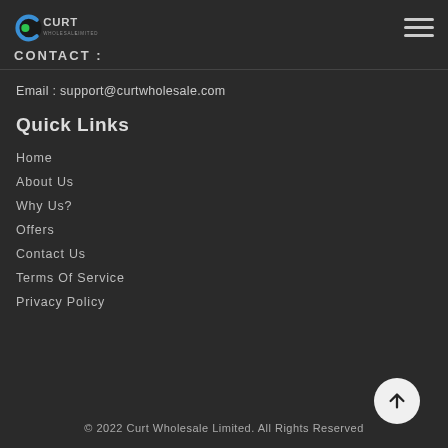CONTACT :
Email : support@curtwholesale.com
Quick Links
Home
About Us
Why Us?
Offers
Contact Us
Terms Of Service
Privacy Policy
© 2022 Curt Wholesale Limited. All Rights Reserved